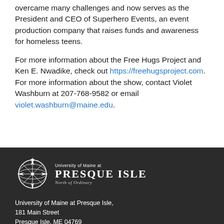overcame many challenges and now serves as the President and CEO of Superhero Events, an event production company that raises funds and awareness for homeless teens.
For more information about the Free Hugs Project and Ken E. Nwadike, check out https://freehugsproject.com. For more information about the show, contact Violet Washburn at 207-768-9582 or email violet.washburn@maine.edu.
[Figure (logo): University of Maine at Presque Isle logo — compass rose icon with text 'University of Maine at PRESQUE ISLE North of Ordinary']
University of Maine at Presque Isle, 181 Main Street Presque Isle, ME 04769